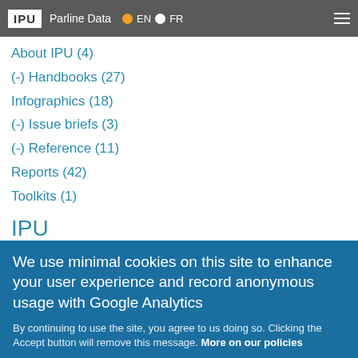IPU | Parline Data | EN | FR
About IPU (4)
(-) Handbooks (27)
Infographics (18)
(-) Issue briefs (3)
(-) Reference (11)
Reports (42)
Toolkits (1)
IPU
IPU offices
Inter-Parliamentary Union
We use minimal cookies on this site to enhance your user experience and record anonymous usage with Google Analytics
By continuing to use the site, you agree to us doing so. Clicking the Accept button will remove this message. More on our policies